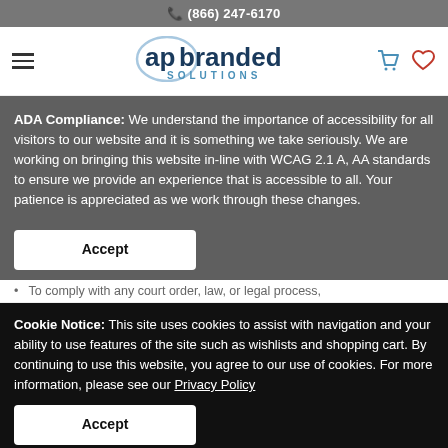(866) 247-6170
[Figure (logo): AP Branded Solutions logo with hamburger menu, cart icon, and heart icon]
ADA Compliance: We understand the importance of accessibility for all visitors to our website and it is something we take seriously. We are working on bringing this website in-line with WCAG 2.1 A, AA standards to ensure we provide an experience that is accessible to all. Your patience is appreciated as we work through these changes.
Accept
To comply with any court order, law, or legal process,
Cookie Notice: This site uses cookies to assist with navigation and your ability to use features of the site such as wishlists and shopping cart. By continuing to use this website, you agree to our use of cookies. For more information, please see our Privacy Policy
Accept